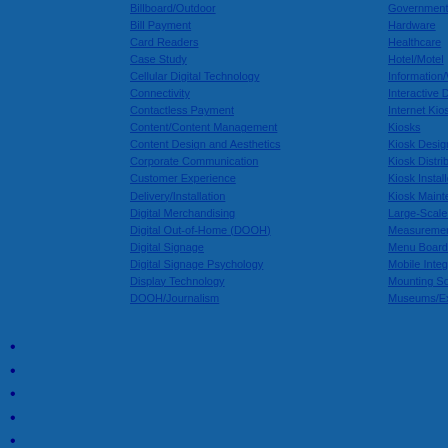Billboard/Outdoor
Bill Payment
Card Readers
Case Study
Cellular Digital Technology
Connectivity
Contactless Payment
Content/Content Management
Content Design and Aesthetics
Corporate Communication
Customer Experience
Delivery/Installation
Digital Merchandising
Digital Out-of-Home (DOOH)
Digital Signage
Digital Signage Psychology
Display Technology
DOOH/Journalism
Government/Public Sector
Hardware
Healthcare
Hotel/Motel
Information/Wayfinding
Interactive Displays
Internet Kiosks
Kiosks
Kiosk Design
Kiosk Distributors
Kiosk Installers
Kiosk Maintenance
Large-Scale Deployment
Measurement and Analysis
Menu Boards
Mobile Integration
Mounting Solutions
Museums/Exhibits